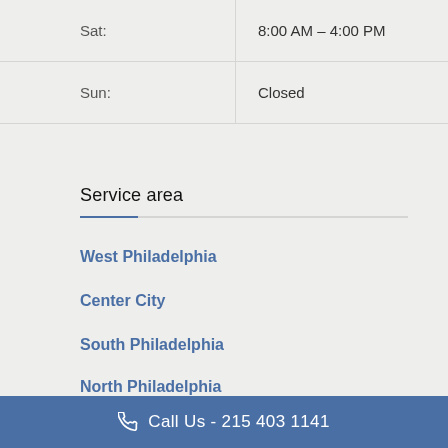| Sat: | 8:00 AM – 4:00 PM |
| Sun: | Closed |
Service area
West Philadelphia
Center City
South Philadelphia
North Philadelphia
Northwest Philadelphia
Call Us - 215 403 1141